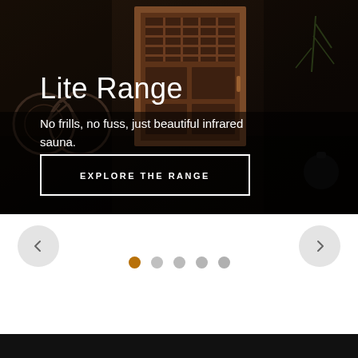[Figure (photo): Dark moody photograph showing an infrared sauna unit with cedar wood paneling and glass window panels, with gym equipment including a bicycle and kettlebell visible in the background on a dark concrete floor.]
Lite Range
No frills, no fuss, just beautiful infrared sauna.
EXPLORE THE RANGE